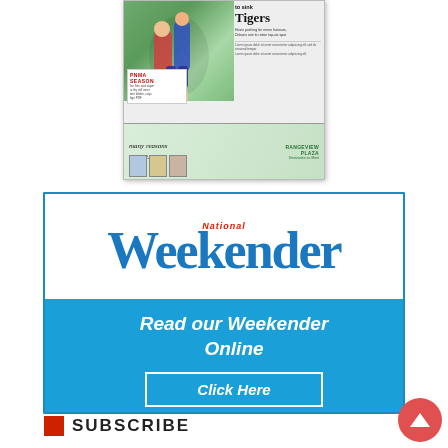[Figure (screenshot): Newspaper front page thumbnail showing rugby/sports headline 'to sink Tigers', with sports photo, PNMA Season box, subheading 'Hosts pushing for minor honours, Dabaris aim to retain top-six spot', and a Rangeview Plaza advertisement strip at the bottom reading 'many reasons to visit.']
[Figure (screenshot): National Weekender promotional banner. Top half white background with 'National' in red and 'Weekender' in large blue serif font. Bottom half blue background with white italic text 'Read our Weekender Online' and a 'Click Here' button outlined in white.]
SUBSCRIBE